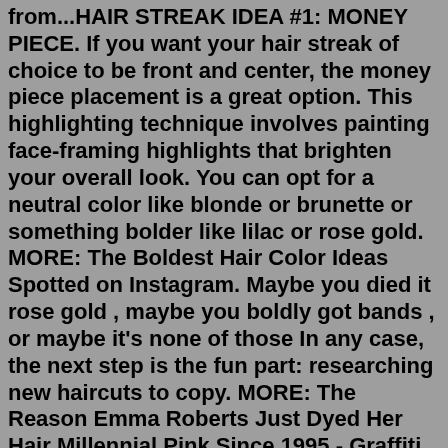from...HAIR STREAK IDEA #1: MONEY PIECE. If you want your hair streak of choice to be front and center, the money piece placement is a great option. This highlighting technique involves painting face-framing highlights that brighten your overall look. You can opt for a neutral color like blonde or brunette or something bolder like lilac or rose gold. MORE: The Boldest Hair Color Ideas Spotted on Instagram. Maybe you died it rose gold , maybe you boldly got bands , or maybe it's none of those In any case, the next step is the fun part: researching new haircuts to copy. MORE: The Reason Emma Roberts Just Dyed Her Hair Millennial Pink.Since 1995 - Graffiti & streetwear clothing company // Depuis 1995 - Marque de streetwear et Graffiti depuis 1995...For color advice: include things like whether or not the hair has been dyed before, and if so with what and how many times, and a picture! I am having SO MUCH trouble trying to figure this out. So I noticed in the sun people will have tiny strands of hair that is sparkly and glittery -- looks a bit like...Best insta